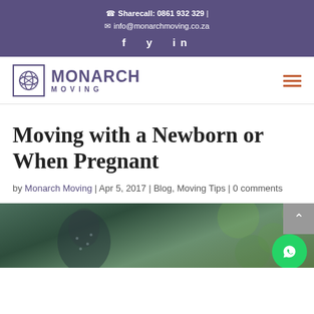Sharecall: 0861 932 329 | info@monarchmoving.co.za
[Figure (logo): Monarch Moving company logo with icon and text, and hamburger menu icon]
Moving with a Newborn or When Pregnant
by Monarch Moving | Apr 5, 2017 | Blog, Moving Tips | 0 comments
[Figure (photo): Photo of a pregnant woman outdoors, partially visible at bottom of page]